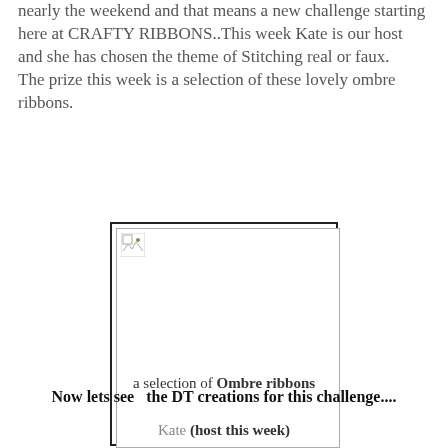nearly the weekend and that means a new challenge starting here at CRAFTY RIBBONS..This week Kate is our host and she has chosen the theme of Stitching real or faux. The prize this week is a selection of these lovely ombre ribbons.
[Figure (photo): A broken/placeholder image representing a selection of Ombre ribbons, shown as a bordered box with a broken image icon in the top-left corner.]
a selection of Ombre ribbons
Now lets see  the DT creations for this challenge....
Kate (host this week)